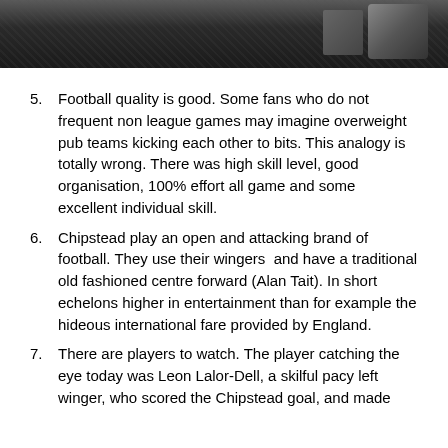[Figure (photo): Partial photo of a football scene, dark/grunge background with equipment visible at top of page]
5. Football quality is good. Some fans who do not frequent non league games may imagine overweight pub teams kicking each other to bits. This analogy is totally wrong. There was high skill level, good organisation, 100% effort all game and some excellent individual skill.
6. Chipstead play an open and attacking brand of football. They use their wingers  and have a traditional old fashioned centre forward (Alan Tait). In short echelons higher in entertainment than for example the hideous international fare provided by England.
7. There are players to watch. The player catching the eye today was Leon Lalor-Dell, a skilful pacy left winger, who scored the Chipstead goal, and made